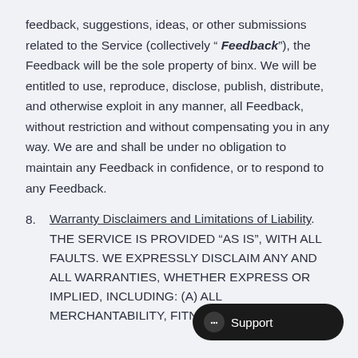feedback, suggestions, ideas, or other submissions related to the Service (collectively " Feedback"), the Feedback will be the sole property of binx. We will be entitled to use, reproduce, disclose, publish, distribute, and otherwise exploit in any manner, all Feedback, without restriction and without compensating you in any way. We are and shall be under no obligation to maintain any Feedback in confidence, or to respond to any Feedback.
8. Warranty Disclaimers and Limitations of Liability. THE SERVICE IS PROVIDED “AS IS”, WITH ALL FAULTS. WE EXPRESSLY DISCLAIM ANY AND ALL WARRANTIES, WHETHER EXPRESS OR IMPLIED, INCLUDING: (A) ALL MERCHANTABILITY, FITNESS